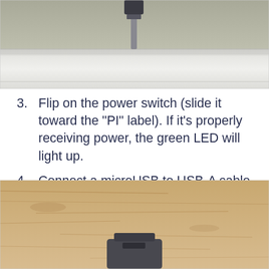[Figure (photo): Top portion of a photo showing a ceiling/wall area with white crown molding and a cable or rod coming down from the top center]
3. Flip on the power switch (slide it toward the "PI" label). If it's properly receiving power, the green LED will light up.
4. Connect a microUSB to USB-A cable to the port labeled "Data" on the TinyPilot Power Connector. Connect the other end to a USB port on your target computer.
[Figure (photo): Bottom portion of a photo showing a light wood desk surface with a small dark device (TinyPilot Power Connector) sitting on it]